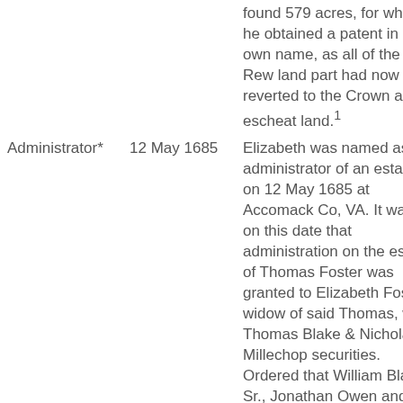|  |  | found 579 acres, for which he obtained a patent in his own name, as all of the Rew land part had now reverted to the Crown as escheat land.1 |
| Administrator* | 12 May 1685 | Elizabeth was named as administrator of an estate on 12 May 1685 at Accomack Co, VA. It was on this date that administration on the estate of Thomas Foster was granted to Elizabeth Foster, widow of said Thomas, with Thomas Blake & Nicholas Millechop securities. Ordered that William Blake, Sr., Jonathan Owen and Samuel Tayler go to the nearest magistrate to be sworn and then |